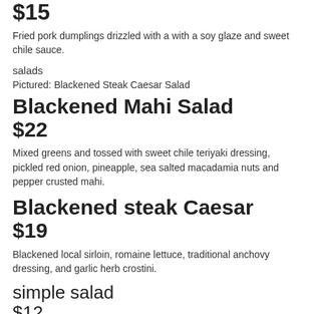$15
Fried pork dumplings drizzled with a with a soy glaze and sweet chile sauce.
salads
Pictured: Blackened Steak Caesar Salad
Blackened Mahi Salad
$22
Mixed greens and tossed with sweet chile teriyaki dressing, pickled red onion, pineapple, sea salted macadamia nuts and pepper crusted mahi.
Blackened steak Caesar
$19
Blackened local sirloin, romaine lettuce, traditional anchovy dressing, and garlic herb crostini.
simple salad
$12